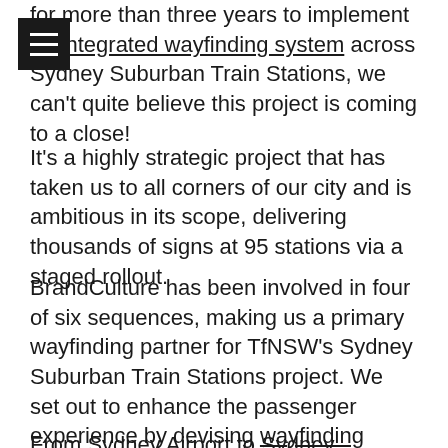for more than three years to implement an integrated wayfinding system across Sydney Suburban Train Stations, we can't quite believe this project is coming to a close!
It's a highly strategic project that has taken us to all corners of our city and is ambitious in its scope, delivering thousands of signs at 95 stations via a staged rollout.
BrandCulture has been involved in four of six sequences, making us a primary wayfinding partner for TfNSW's Sydney Suburban Train Stations project. We set out to enhance the passenger experience by devising wayfinding strategies for each station environment.
From Sydney Airport to Sydney Olympic Park